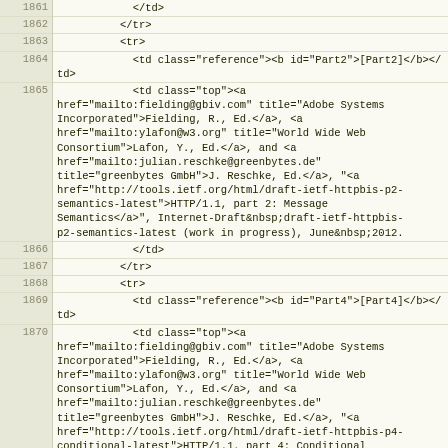[Figure (screenshot): Source code viewer showing XML/HTML lines 1861-1873 with line numbers in left gutter and code content on right. Shows table HTML with references to HTTP/1.1 Part2 and Part4 internet drafts.]